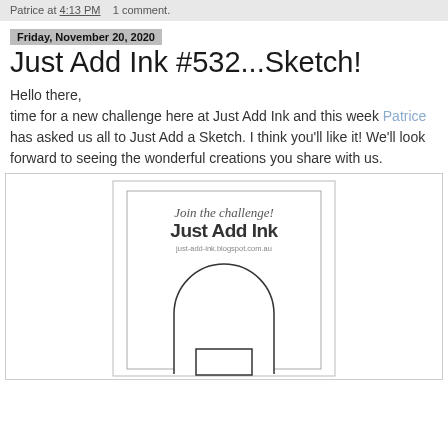Patrice at 4:13 PM    1 comment.
Friday, November 20, 2020
Just Add Ink #532...Sketch!
Hello there,
time for a new challenge here at Just Add Ink and this week Patrice has asked us all to Just Add a Sketch. I think you'll like it! We'll look forward to seeing the wonderful creations you share with us.
[Figure (illustration): Just Add Ink sketch challenge card template showing nested rectangles with an arch/semicircle and a small rectangle at the bottom center. Header text reads 'Join the challenge! Just Add Ink just-add-ink.blogspot.com.au']